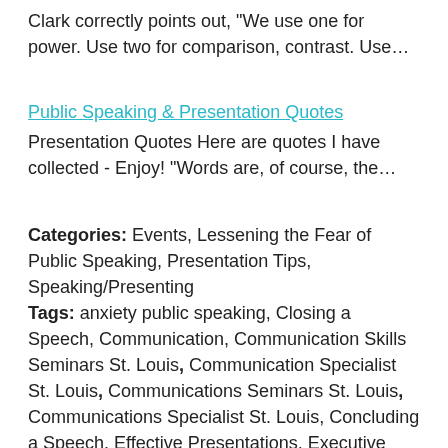Clark correctly points out, "We use one for power. Use two for comparison, contrast. Use…"
Public Speaking & Presentation Quotes
Presentation Quotes Here are quotes I have collected - Enjoy! "Words are, of course, the…"
Categories: Events, Lessening the Fear of Public Speaking, Presentation Tips, Speaking/Presenting Tags: anxiety public speaking, Closing a Speech, Communication, Communication Skills Seminars St. Louis, Communication Specialist St. Louis, Communications Seminars St. Louis, Communications Specialist St. Louis, Concluding a Speech, Effective Presentations, Executive Presentation Coach St. Louis, executive presentation training st. louis, Executive Speech Coach Missouri, Executive Speech Coach St.